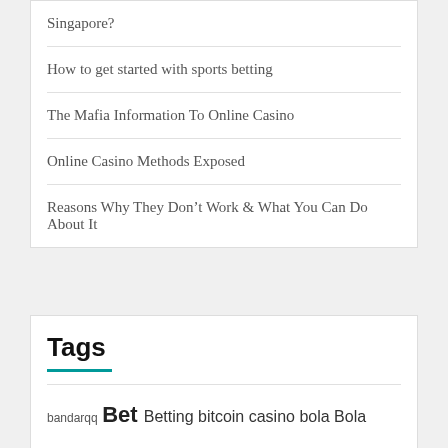Singapore?
How to get started with sports betting
The Mafia Information To Online Casino
Online Casino Methods Exposed
Reasons Why They Don’t Work & What You Can Do About It
Tags
bandarqq Bet Betting bitcoin casino bola Bola online Casino Casino Online Dominoqq Domino qq online Football Fun Casino Gambling Gambling Online game gaming joker judi Judi Bola JUDI BOLA ONLINE judi online Judi poker Judi